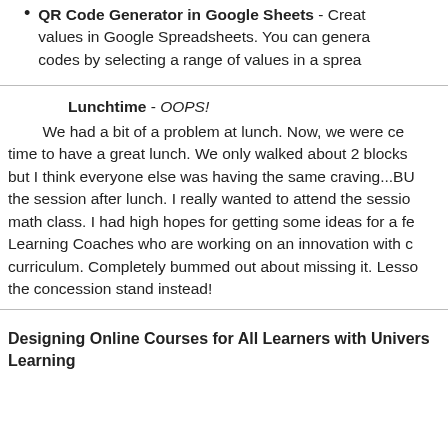QR Code Generator in Google Sheets - Create values in Google Spreadsheets. You can generate codes by selecting a range of values in a spread
Lunchtime - OOPS! We had a bit of a problem at lunch. Now, we were ce time to have a great lunch. We only walked about 2 blocks but I think everyone else was having the same craving...BU the session after lunch. I really wanted to attend the sessio math class. I had high hopes for getting some ideas for a fe Learning Coaches who are working on an innovation with c curriculum. Completely bummed out about missing it. Lesso the concession stand instead!
Designing Online Courses for All Learners with Univers Learning